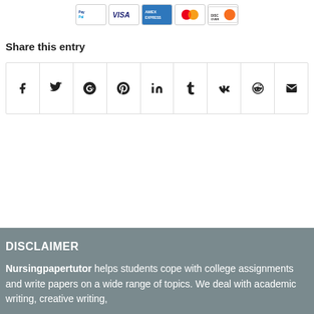[Figure (other): Payment method icons: PayPal, Visa, Amex, Mastercard, Discover]
Share this entry
[Figure (other): Social share icon row: Facebook, Twitter, Google+, Pinterest, LinkedIn, Tumblr, VK, Reddit, Email]
DISCLAIMER
Nursingpapertutor helps students cope with college assignments and write papers on a wide range of topics. We deal with academic writing, creative writing,